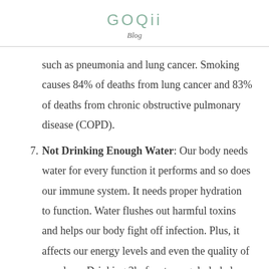GOQii
Blog
such as pneumonia and lung cancer. Smoking causes 84% of deaths from lung cancer and 83% of deaths from chronic obstructive pulmonary disease (COPD).
Not Drinking Enough Water: Our body needs water for every function it performs and so does our immune system. It needs proper hydration to function. Water flushes out harmful toxins and helps our body fight off infection. Plus, it affects our energy levels and even the quality of our sleep. Drinking 3l of water regularly helps one stay well hydrated